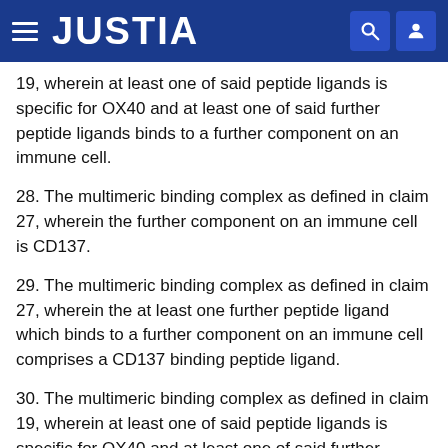JUSTIA
19, wherein at least one of said peptide ligands is specific for OX40 and at least one of said further peptide ligands binds to a further component on an immune cell.
28. The multimeric binding complex as defined in claim 27, wherein the further component on an immune cell is CD137.
29. The multimeric binding complex as defined in claim 27, wherein the at least one further peptide ligand which binds to a further component on an immune cell comprises a CD137 binding peptide ligand.
30. The multimeric binding complex as defined in claim 19, wherein at least one of said peptide ligands is specific for OX40 and at least one of said further peptide ligands binds to a component present on a cancer cell